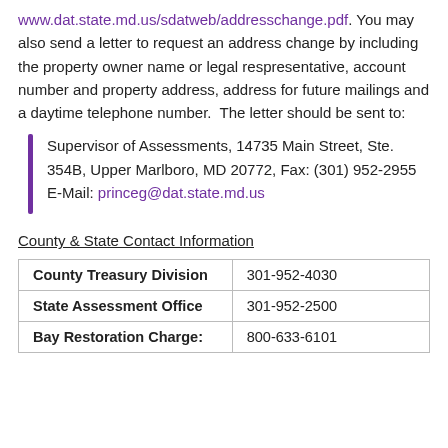www.dat.state.md.us/sdatweb/addresschange.pdf. You may also send a letter to request an address change by including the property owner name or legal respresentative, account number and property address, address for future mailings and a daytime telephone number.  The letter should be sent to:
Supervisor of Assessments, 14735 Main Street, Ste. 354B, Upper Marlboro, MD 20772, Fax: (301) 952-2955 E-Mail: princeg@dat.state.md.us
County & State Contact Information
|  |  |
| --- | --- |
| County Treasury Division | 301-952-4030 |
| State Assessment Office | 301-952-2500 |
| Bay Restoration Charge: | 800-633-6101 |